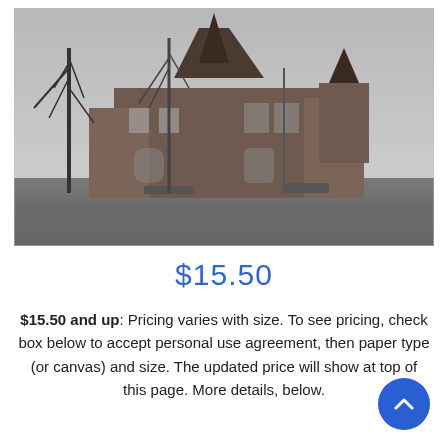[Figure (photo): Historical black and white photograph of a large Victorian-era brick building with a pointed turret, surrounded by bare trees, with a dirt road in the foreground.]
$15.50
$15.50 and up: Pricing varies with size. To see pricing, check box below to accept personal use agreement, then paper type (or canvas) and size. The updated price will show at top of this page. More details, below.